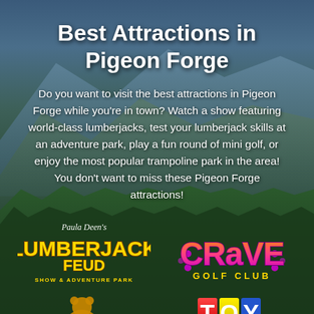Best Attractions in Pigeon Forge
Do you want to visit the best attractions in Pigeon Forge while you're in town? Watch a show featuring world-class lumberjacks, test your lumberjack skills at an adventure park, play a fun round of mini golf, or enjoy the most popular trampoline park in the area! You don't want to miss these Pigeon Forge attractions!
[Figure (logo): Paula Deen's Lumberjack Feud Show & Adventure Park logo in yellow and brown]
[Figure (logo): Crave Golf Club logo in pink/purple and orange gradient text]
[Figure (logo): Partially visible logo at bottom left]
[Figure (logo): Partially visible TOY logo at bottom right]